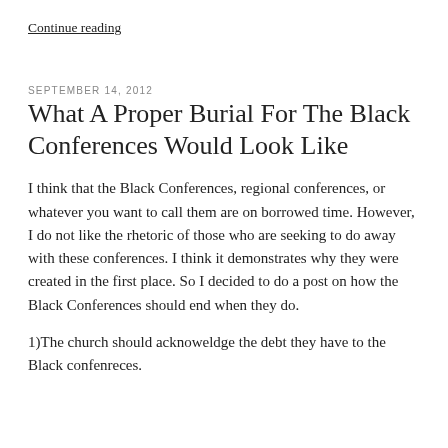Continue reading
SEPTEMBER 14, 2012
What A Proper Burial For The Black Conferences Would Look Like
I think that the Black Conferences, regional conferences, or whatever you want to call them are on borrowed time. However, I do not like the rhetoric of those who are seeking to do away with these conferences. I think it demonstrates why they were created in the first place. So I decided to do a post on how the Black Conferences should end when they do.
1)The church should acknoweldge the debt they have to the Black confenreces.